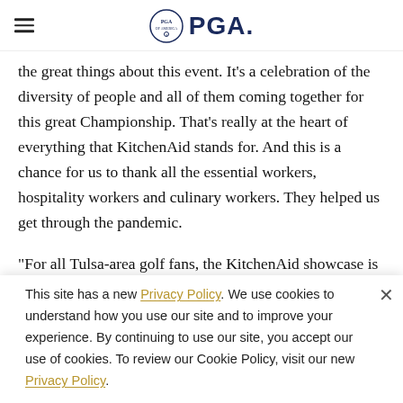PGA
the great things about this event. It's a celebration of the diversity of people and all of them coming together for this great Championship. That's really at the heart of everything that KitchenAid stands for. And this is a chance for us to thank all the essential workers, hospitality workers and culinary workers. They helped us get through the pandemic.
"For all Tulsa-area golf fans, the KitchenAid showcase is a chance to...
This site has a new Privacy Policy. We use cookies to understand how you use our site and to improve your experience. By continuing to use our site, you accept our use of cookies. To review our Cookie Policy, visit our new Privacy Policy.